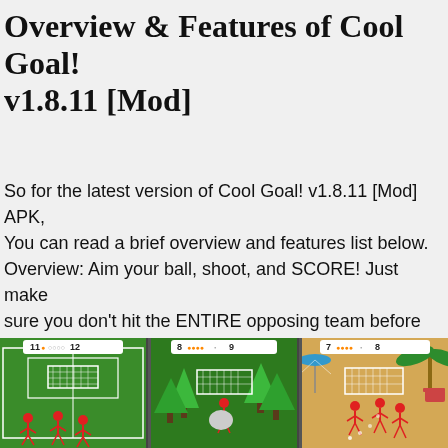Overview & Features of Cool Goal! v1.8.11 [Mod]
So for the latest version of Cool Goal! v1.8.11 [Mod] APK, You can read a brief overview and features list below.
Overview: Aim your ball, shoot, and SCORE! Just make sure you don't hit the ENTIRE opposing team before you hit the net.
[Figure (screenshot): Three side-by-side screenshots of Cool Goal! game showing different levels: soccer field, forest level, and beach level, each with red stick figure players and a goal net, score badges at top.]